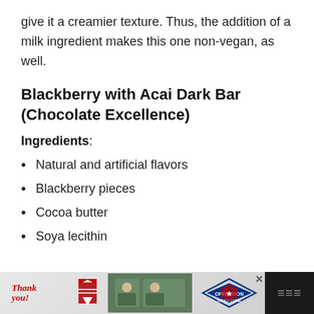give it a creamier texture. Thus, the addition of a milk ingredient makes this one non-vegan, as well.
Blackberry with Acai Dark Bar (Chocolate Excellence)
Ingredients:
Natural and artificial flavors
Blackberry pieces
Cocoa butter
Soya lecithin
[Figure (photo): Advertisement banner at page bottom: 'Thank you!' Operation Gratitude military charity ad with dark background]